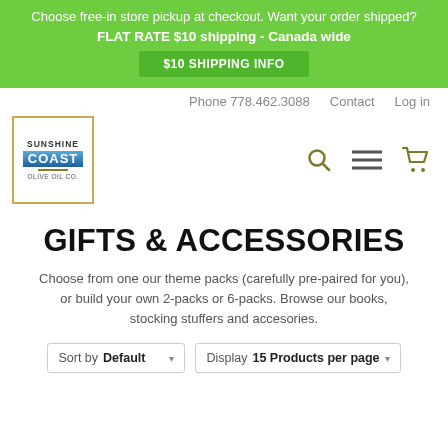Choose free-in store pickup at checkout. Want your order shipped?
FLAT RATE $10 shipping - Canada wide
$10 SHIPPING INFO
Phone 778.462.3088   Contact   Log in
[Figure (logo): Sunshine Coast Olive Oil Co. logo in a gold-bordered box]
GIFTS & ACCESSORIES
Choose from one our theme packs (carefully pre-paired for you), or build your own 2-packs or 6-packs. Browse our books, stocking stuffers and accesories.
Sort by Default   Display 15 Products per page